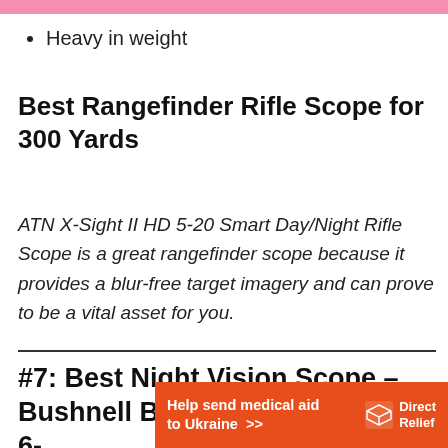Heavy in weight
Best Rangefinder Rifle Scope for 300 Yards
ATN X-Sight II HD 5-20 Smart Day/Night Rifle Scope is a great rangefinder scope because it provides a blur-free target imagery and can prove to be a vital asset for you.
#7: Best Night Vision Scope – Bushnell Banner Dusk & Dawn 6-
[Figure (other): Direct Relief advertisement banner: orange background with text 'Help send medical aid to Ukraine >>' and Direct Relief logo]